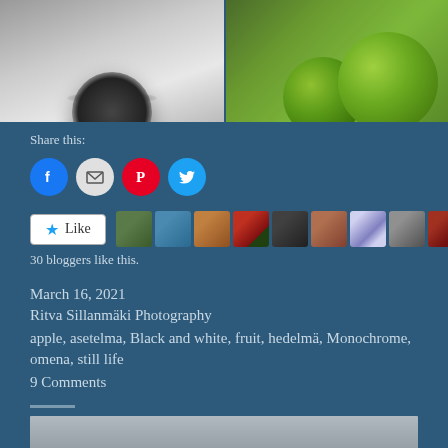[Figure (photo): Two side-by-side photos: left is a black and white still life with a rounded object, right is two green apples on a surface]
Share this:
[Figure (infographic): Social share buttons: Facebook, Email, Pinterest, Twitter]
[Figure (infographic): Like button with star and 10 blogger avatar thumbnails]
30 bloggers like this.
March 16, 2021
Ritva Sillanmäki Photography
apple, asetelma, Black and white, fruit, hedelmä, Monochrome, omena, still life
9 Comments
[Figure (photo): Partial photo visible at bottom of page, gray tones]